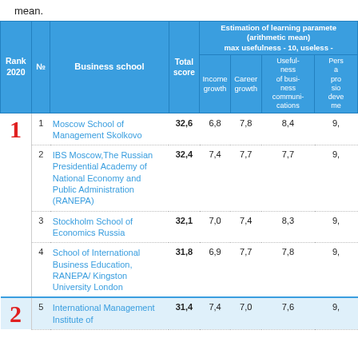mean.
| Rank 2020 | № | Business school | Total score | Income growth | Career growth | Usefulness of business communications | Personal and professional development |
| --- | --- | --- | --- | --- | --- | --- | --- |
| 1 | 1 | Moscow School of Management Skolkovo | 32,6 | 6,8 | 7,8 | 8,4 | 9,… |
|  | 2 | IBS Moscow,The Russian Presidential Academy of National Economy and Public Administration (RANEPA) | 32,4 | 7,4 | 7,7 | 7,7 | 9,… |
|  | 3 | Stockholm School of Economics Russia | 32,1 | 7,0 | 7,4 | 8,3 | 9,… |
|  | 4 | School of International Business Education, RANEPA/ Kingston University London | 31,8 | 6,9 | 7,7 | 7,8 | 9,… |
| 2 | 5 | International Management Institute of… | 31,4 | 7,4 | 7,0 | 7,6 | 9,… |